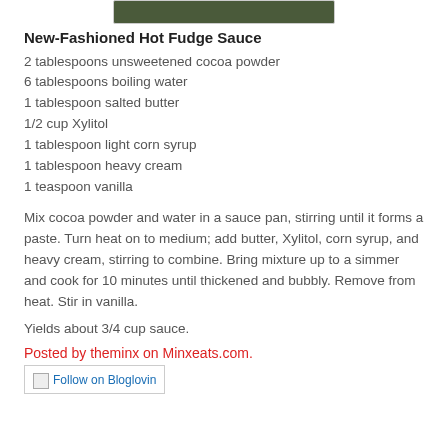[Figure (photo): Top portion of a photo showing what appears to be a dark green bowl or dish with hot fudge sauce]
New-Fashioned Hot Fudge Sauce
2 tablespoons unsweetened cocoa powder
6 tablespoons boiling water
1 tablespoon salted butter
1/2 cup Xylitol
1 tablespoon light corn syrup
1 tablespoon heavy cream
1 teaspoon vanilla
Mix cocoa powder and water in a sauce pan, stirring until it forms a paste. Turn heat on to medium; add butter, Xylitol, corn syrup, and heavy cream, stirring to combine. Bring mixture up to a simmer and cook for 10 minutes until thickened and bubbly. Remove from heat. Stir in vanilla.
Yields about 3/4 cup sauce.
Posted by theminx on Minxeats.com.
[Figure (other): Follow on Bloglovin badge/button]